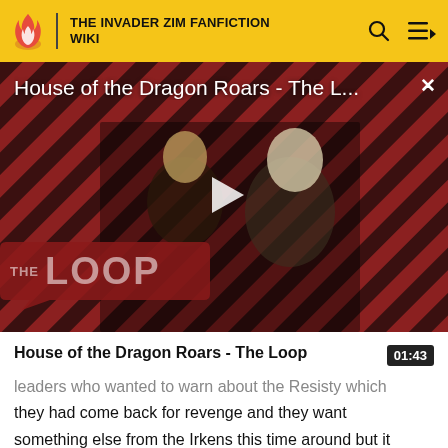THE INVADER ZIM FANFICTION WIKI
[Figure (screenshot): Video thumbnail for 'House of the Dragon Roars - The Loop' showing two characters against a red and black diagonal stripe background with The Loop logo, a play button in the center, and a close X button in the top right.]
House of the Dragon Roars - The Loop  01:43
leaders who wanted to warn about the Resisty which they had come back for revenge and they want something else from the Irkens this time around but it was even bigger then when they wanted the snacks this